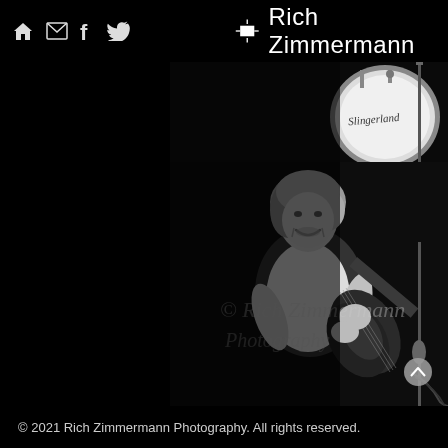Rich Zimmermann Photography - navigation header with home, email, facebook, twitter/bird icons
[Figure (photo): Black and white concert photograph of a man with shoulder-length hair and a mustache, smiling and playing an electric guitar on stage. A Slingerland drum kit is visible in the upper right background. The photo has a watermark reading '© Rich Zimmermann Photography' overlaid on the image.]
© 2021 Rich Zimmermann Photography. All rights reserved.